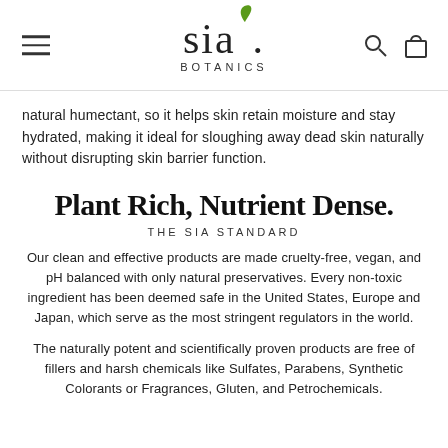sia. BOTANICS
natural humectant, so it helps skin retain moisture and stay hydrated, making it ideal for sloughing away dead skin naturally without disrupting skin barrier function.
Plant Rich, Nutrient Dense.
THE SIA STANDARD
Our clean and effective products are made cruelty-free, vegan, and pH balanced with only natural preservatives. Every non-toxic ingredient has been deemed safe in the United States, Europe and Japan, which serve as the most stringent regulators in the world.
The naturally potent and scientifically proven products are free of fillers and harsh chemicals like Sulfates, Parabens, Synthetic Colorants or Fragrances, Gluten, and Petrochemicals.